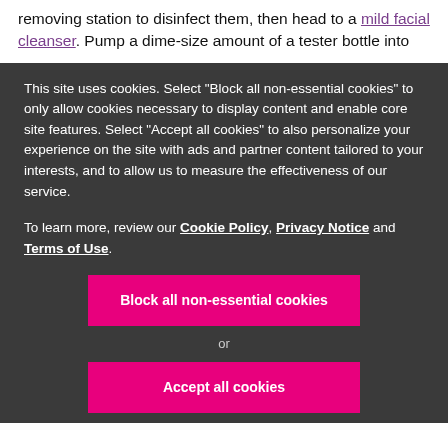removing station to disinfect them, then head to a mild facial cleanser. Pump a dime-size amount of a tester bottle into
This site uses cookies. Select "Block all non-essential cookies" to only allow cookies necessary to display content and enable core site features. Select "Accept all cookies" to also personalize your experience on the site with ads and partner content tailored to your interests, and to allow us to measure the effectiveness of our service.
To learn more, review our Cookie Policy, Privacy Notice and Terms of Use.
Block all non-essential cookies
or
Accept all cookies